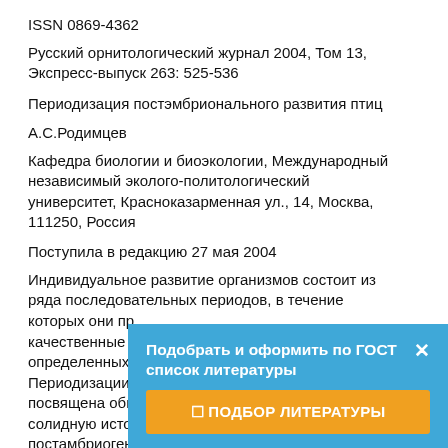ISSN 0869-4362
Русский орнитологический журнал 2004, Том 13, Экспресс-выпуск 263: 525-536
Периодизация постэмбрионального развития птиц
А.С.Родимцев
Кафедра биологии и биоэкологии, Международный независимый эколого-политологический университет, Красноказарменная ул., 14, Москва, 111250, Россия
Поступила в редакцию 27 мая 2004
Индивидуальное развитие организмов состоит из ряда последовательных периодов, в течение которых они пр... качественные и... определенных... Периодизации о... посвящена общ... солидную историю и охватывающая эмрио- и постамбриогенез представителей разных классов